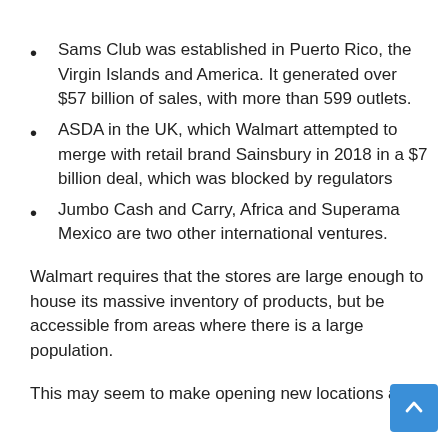Sams Club was established in Puerto Rico, the Virgin Islands and America. It generated over $57 billion of sales, with more than 599 outlets.
ASDA in the UK, which Walmart attempted to merge with retail brand Sainsbury in 2018 in a $7 billion deal, which was blocked by regulators
Jumbo Cash and Carry, Africa and Superama Mexico are two other international ventures.
Walmart requires that the stores are large enough to house its massive inventory of products, but be accessible from areas where there is a large population.
This may seem to make opening new locations a